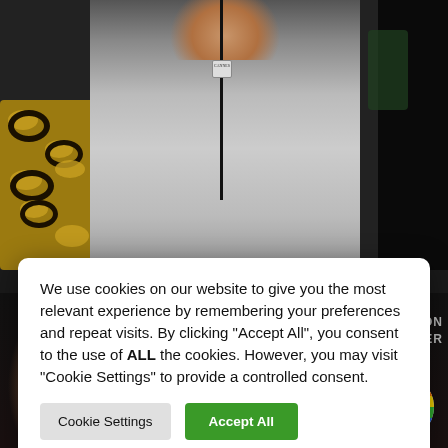[Figure (photo): Background photo showing a person in a grey shirt with a lanyard at the top, and two men with beards at the bottom, on a dark background. 'Sauve qui peut le court métrage Clermont-Ferrand' festival logo visible at bottom right.]
We use cookies on our website to give you the most relevant experience by remembering your preferences and repeat visits. By clicking "Accept All", you consent to the use of ALL the cookies. However, you may visit "Cookie Settings" to provide a controlled consent.